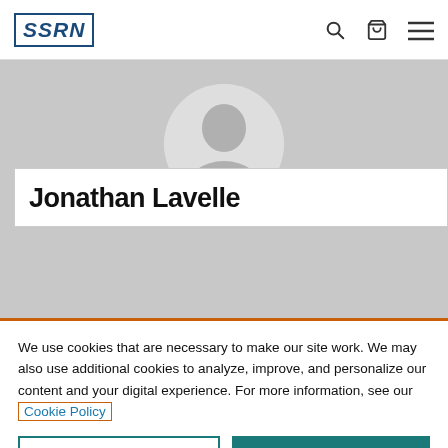SSRN
[Figure (photo): SSRN profile page screenshot showing a default avatar silhouette on a grey background, with the beginning of the name 'Jonathan Lavelle' visible below]
We use cookies that are necessary to make our site work. We may also use additional cookies to analyze, improve, and personalize our content and your digital experience. For more information, see our Cookie Policy
Cookie Settings
Accept all cookies